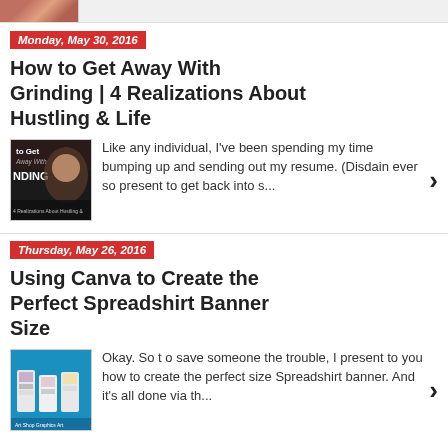[Figure (photo): Partial thumbnail image at top of page, cropped portrait/photo]
Monday, May 30, 2016
How to Get Away With Grinding | 4 Realizations About Hustling & Life
[Figure (photo): Thumbnail image for blog post about grinding/hustling, shows woman's face with text overlay]
Like any individual, I've been spending my time bumping up and sending out my resume.  (Disdain ever  so present to get back into s...
Thursday, May 26, 2016
Using Canva to Create the Perfect Spreadshirt Banner Size
[Figure (photo): Thumbnail image showing Canva Spreadshirt banner creation, teal background with product mockups]
Okay.  So t o save someone the trouble,  I present to you how to create the perfect size Spreadshirt banner.  And it's all done  via th...